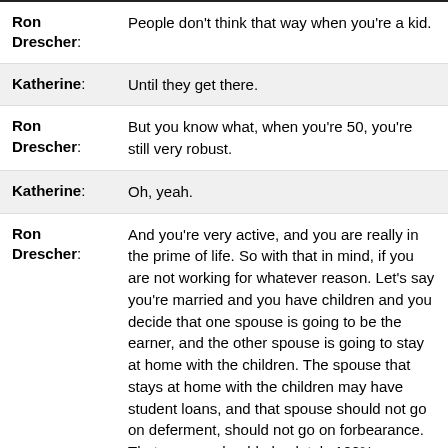Ron Drescher: People don't think that way when you're a kid.
Katherine: Until they get there.
Ron Drescher: But you know what, when you're 50, you're still very robust.
Katherine: Oh, yeah.
Ron Drescher: And you're very active, and you are really in the prime of life. So with that in mind, if you are not working for whatever reason. Let's say you're married and you have children and you decide that one spouse is going to be the earner, and the other spouse is going to stay at home with the children. The spouse that stays at home with the children may have student loans, and that spouse should not go on deferment, should not go on forbearance. That spouse should absolutely 100% go on an income-based repayment. Because let's say that spouse has zero income for 15 years. You